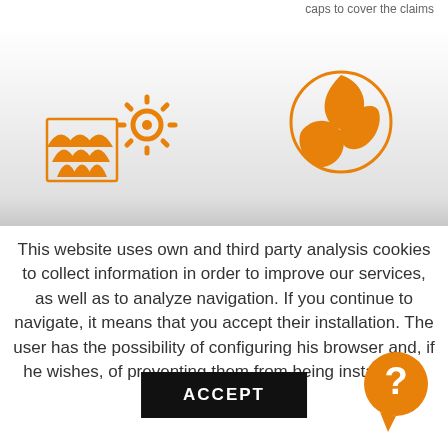caps to cover the claims
[Figure (illustration): Two orange icons side by side: left icon shows roof tiles with a gear/cog overlay; right icon shows a globe made of leaves]
This website uses own and third party analysis cookies to collect information in order to improve our services, as well as to analyze navigation. If you continue to navigate, it means that you accept their installation. The user has the possibility of configuring his browser and, if he wishes, of preventing them from being installed on his disk.
[Figure (illustration): Black ACCEPT button]
[Figure (illustration): Orange circular help icon with question mark]